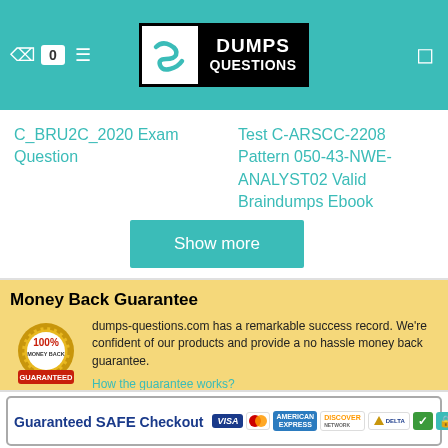[Figure (logo): DumpsQuestions logo with stylized S icon and text DUMPS QUESTIONS on teal header background]
C_BRU2C_2020 Exam Question
Test C-ARSCC-2208 Pattern 050-43-NWE-ANALYST02 Valid Braindumps Ebook
Show more
Money Back Guarantee
dumps-questions.com has a remarkable success record. We're confident of our products and provide a no hassle money back guarantee.
How the guarantee works?
[Figure (infographic): Guaranteed SAFE Checkout banner with VISA, MasterCard, American Express, Discover, Delta, green checkmark, and padlock icons]